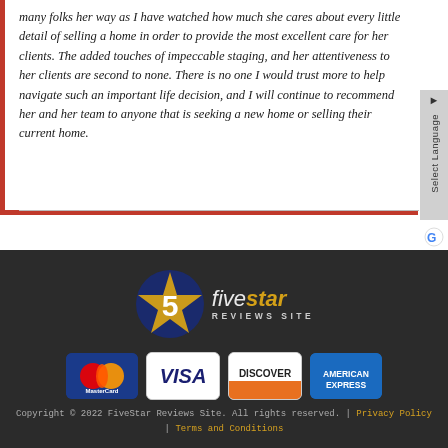many folks her way as I have watched how much she cares about every little detail of selling a home in order to provide the most excellent care for her clients.  The added touches of impeccable staging,  and her attentiveness to her clients are second to none.  There is no one I would trust more to help navigate such an important life decision, and I will continue to recommend her and her team to anyone that is seeking a new home or selling their current home.
[Figure (logo): Five Star Reviews Site logo with gold star and number 5]
[Figure (other): Payment method icons: MasterCard, Visa, Discover, American Express]
Copyright © 2022 FiveStar Reviews Site. All rights reserved. | Privacy Policy | Terms and Conditions